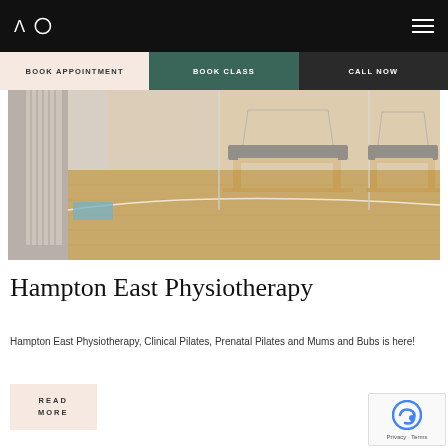AO [logo] | Navigation: BOOK APPOINTMENT | BOOK CLASS | CALL NOW
[Figure (photo): Interior of a physiotherapy / pilates studio with wooden reformer equipment and glass partitions on a light wood floor]
Hampton East Physiotherapy
Hampton East Physiotherapy, Clinical Pilates, Prenatal Pilates and Mums and Bubs is here!
READ MORE